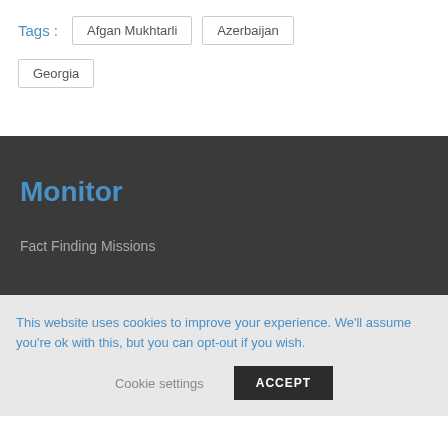Tags : Afgan Mukhtarli  Azerbaijan  Georgia
Monitor
Fact Finding Missions
This website uses cookies to improve your experience. We'll assume you're ok with this, but you can opt-out if you wish.
Cookie settings  ACCEPT